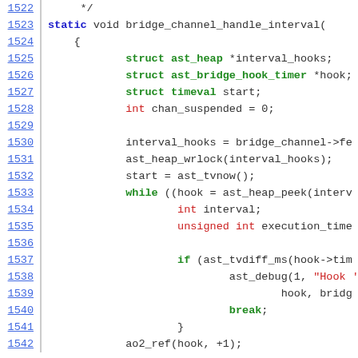[Figure (screenshot): Source code listing lines 1522-1542 of a C file showing bridge_channel_handle_interval function with syntax highlighting. Line numbers in blue on left, code on right with keywords in green/blue/red.]